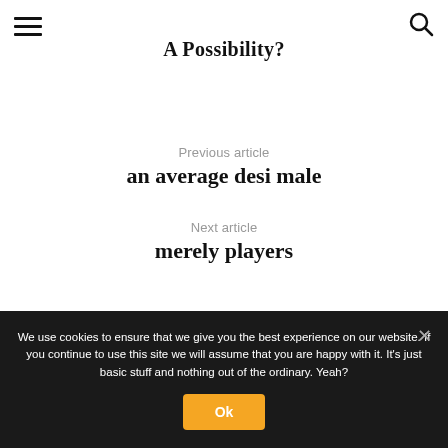A Possibility?
Previous article
an average desi male
Next article
merely players
We use cookies to ensure that we give you the best experience on our website. If you continue to use this site we will assume that you are happy with it. It's just basic stuff and nothing out of the ordinary. Yeah?
Ok